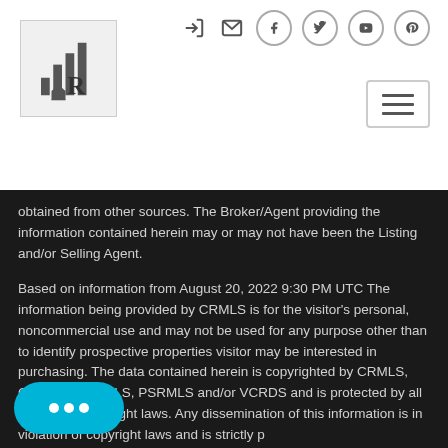Experts of Real Estate logo and navigation icons
obtained from other sources. The Broker/Agent providing the information contained herein may or may not have been the Listing and/or Selling Agent.

Based on information from August 20, 2022 9:30 PM UTC The information being provided by CRMLS is for the visitor's personal, noncommercial use and may not be used for any purpose other than to identify prospective properties visitor may be interested in purchasing. The data contained herein is copyrighted by CRMLS, CLAW, i-Tech MLS, PSRMLS and/or VCRDS and is protected by all applicable copyright laws. Any dissemination of this information is in violation of copyright laws and is strictly prohibited.